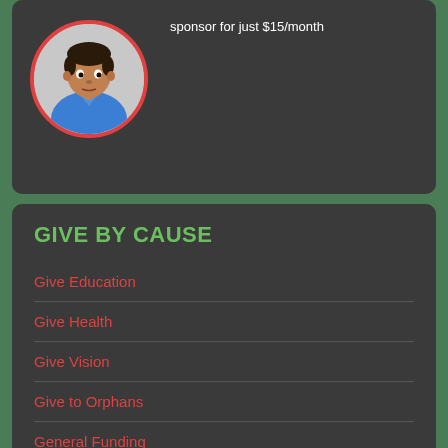[Figure (photo): Circular portrait photo of a young boy wearing a blue school uniform shirt, with a red circular border around the photo, set against a dark gray card background.]
sponsor for just $15/month
GIVE BY CAUSE
Give Education
Give Health
Give Vision
Give to Orphans
General Funding
Zakat
Emergency Relief